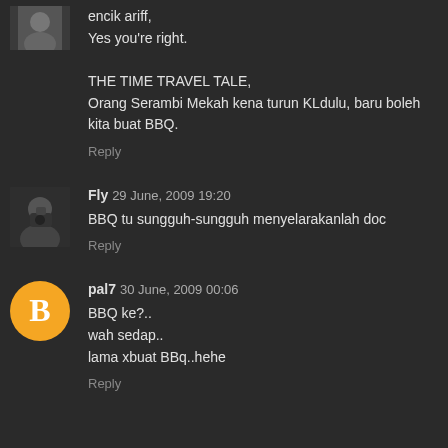[Figure (photo): Small grayscale avatar thumbnail at top left, partially visible]
encik ariff,
Yes you're right.

THE TIME TRAVEL TALE,
Orang Serambi Mekah kena turun KLdulu, baru boleh kita buat BBQ.
Reply
[Figure (photo): Black and white photo avatar of a person with a camera]
Fly 29 June, 2009 19:20
BBQ tu sungguh-sungguh menyelarakanlah doc
Reply
[Figure (logo): Orange circle with white Blogger 'B' icon]
pal7 30 June, 2009 00:06
BBQ ke?..
wah sedap..
lama xbuat BBq..hehe
Reply